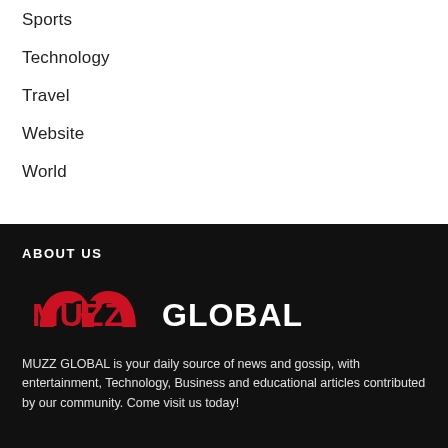Sports
Technology
Travel
Website
World
ABOUT US
[Figure (logo): MUZZ GLOBAL logo with red stylized M icon and white bold GLOBAL text on dark background]
MUZZ GLOBAL is your daily source of news and gossip, with entertainment, Technology, Business and educational articles contributed by our community. Come visit us today!